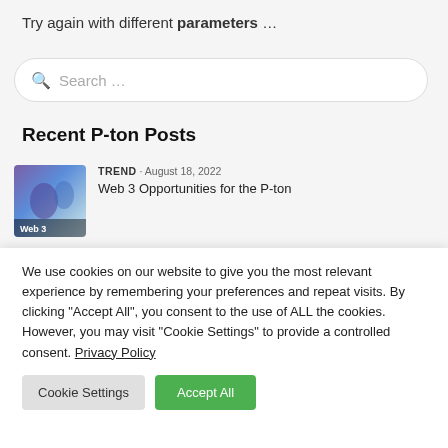Try again with different parameters …
Search …
Recent P-ton Posts
[Figure (photo): Thumbnail image with purple and blue tones, partially cut off, showing a 'Web 3' label overlay]
TREND · August 18, 2022
Web 3 Opportunities for the P-ton
We use cookies on our website to give you the most relevant experience by remembering your preferences and repeat visits. By clicking "Accept All", you consent to the use of ALL the cookies. However, you may visit "Cookie Settings" to provide a controlled consent. Privacy Policy
Cookie Settings
Accept All